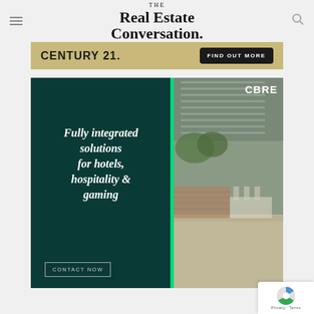THE Real Estate Conversation.
[Figure (illustration): Century 21 advertisement banner with gold/tan background showing CENTURY 21. logo and FIND OUT MORE button]
[Figure (illustration): CBRE advertisement with dark green background, white serif text reading 'Fully integrated solutions for hotels, hospitality & gaming', green vertical bar, photo of hotel/hospitality outdoor area, CBRE logo, CONTACT NOW button]